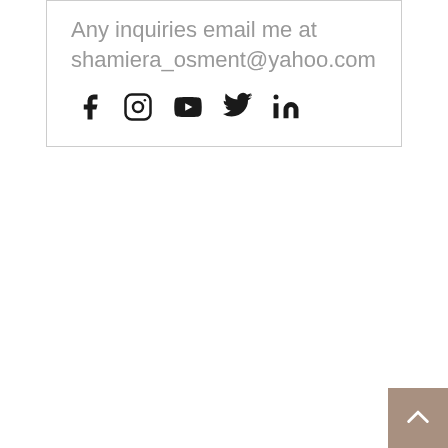Any inquiries email me at shamiera_osment@yahoo.com
[Figure (infographic): Social media icons: Facebook, Instagram, YouTube, Twitter, LinkedIn]
[Figure (other): Back to top button with upward chevron arrow, brown/taupe background]